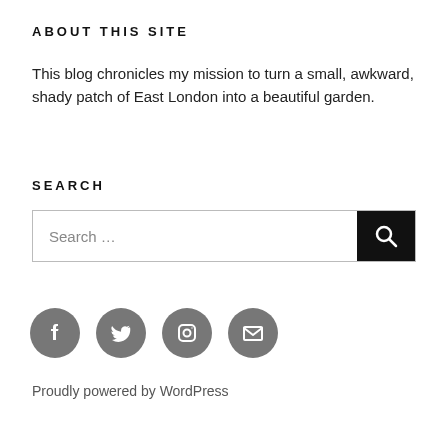ABOUT THIS SITE
This blog chronicles my mission to turn a small, awkward, shady patch of East London into a beautiful garden.
SEARCH
[Figure (other): Search box with text field reading 'Search ...' and a black search button with magnifying glass icon]
[Figure (other): Four social media icon circles in grey: Facebook (f), Twitter (bird), Instagram (camera), Email (envelope)]
Proudly powered by WordPress